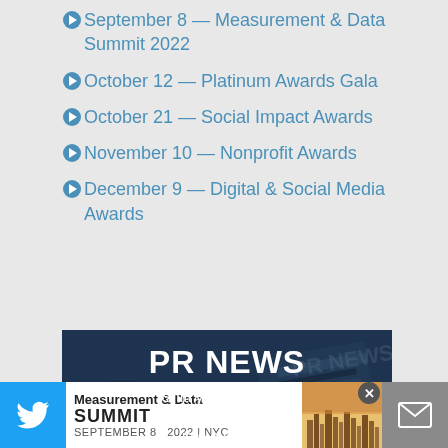September 8 — Measurement & Data Summit 2022
October 12 — Platinum Awards Gala
October 21 — Social Impact Awards
November 10 — Nonprofit Awards
December 9 — Digital & Social Media Awards
[Figure (photo): PR NEWS banner with text 'Shift your business, team and career into overdrive' on a dark blue background with newspaper imagery]
[Figure (infographic): Bottom advertisement bar: Twitter bird icon on left (blue background), Measurement & Data SUMMIT SEPTEMBER 8 2022 | NYC ad in center with city skyline image, email icon on right (gray background)]